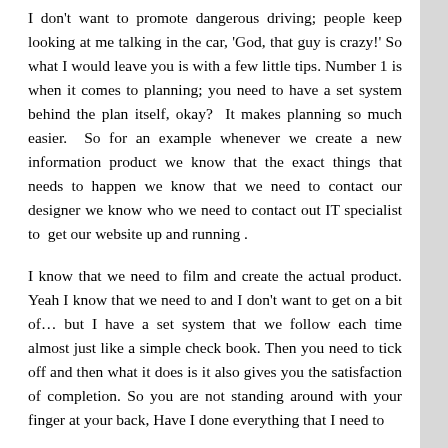I don't want to promote dangerous driving; people keep looking at me talking in the car, 'God, that guy is crazy!' So what I would leave you is with a few little tips. Number 1 is when it comes to planning; you need to have a set system behind the plan itself, okay?  It makes planning so much easier.  So for an example whenever we create a new information product we know that the exact things that needs to happen we know that we need to contact our designer we know who we need to contact out IT specialist to  get our website up and running .
I know that we need to film and create the actual product. Yeah I know that we need to and I don't want to get on a bit of… but I have a set system that we follow each time almost just like a simple check book. Then you need to tick off and then what it does is it also gives you the satisfaction of completion. So you are not standing around with your finger at your back, Have I done everything that I need to